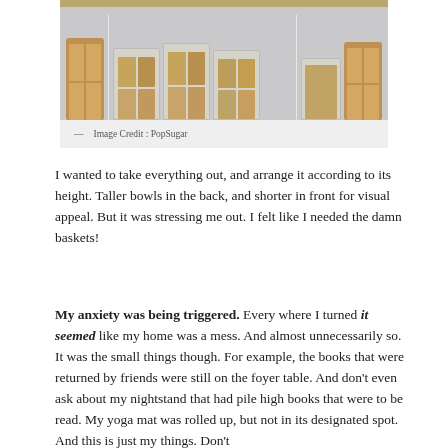[Figure (photo): Organized pantry shelves with wicker baskets and clear containers holding various food items, on white shelving units against a gray background.]
— Image Credit : PopSugar
I wanted to take everything out, and arrange it according to its height. Taller bowls in the back, and shorter in front for visual appeal. But it was stressing me out. I felt like I needed the damn baskets!
My anxiety was being triggered. Every where I turned it seemed like my home was a mess. And almost unnecessarily so. It was the small things though. For example, the books that were returned by friends were still on the foyer table. And don't even ask about my nightstand that had pile high books that were to be read. My yoga mat was rolled up, but not in its designated spot. And this is just my things. Don't